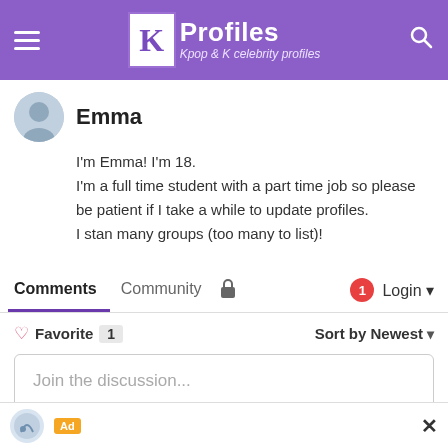KProfiles — Kpop & K celebrity profiles
Emma
I'm Emma! I'm 18.
I'm a full time student with a part time job so please be patient if I take a while to update profiles.
I stan many groups (too many to list)!
Comments
Favorite 1    Sort by Newest
Join the discussion...